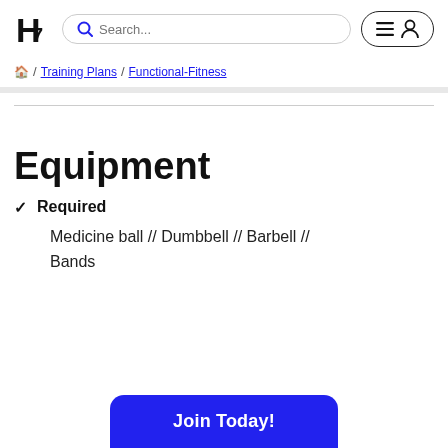H7 logo | Search... | menu/profile button
🏠 / Training Plans / Functional-Fitness
Equipment
✓ Required
Medicine ball // Dumbbell // Barbell // Bands
Join Today!